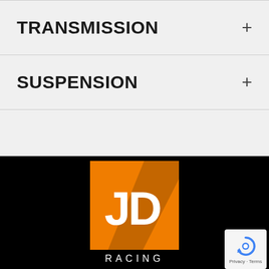TRANSMISSION
SUSPENSION
[Figure (logo): JD Racing logo — orange square with white JD letters and RACING text below, on black background]
[Figure (other): Google reCAPTCHA badge with Privacy and Terms links]